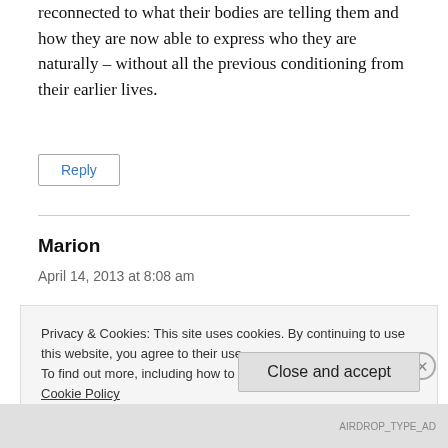reconnected to what their bodies are telling them and how they are now able to express who they are naturally – without all the previous conditioning from their earlier lives.
Reply
Marion
April 14, 2013 at 8:08 am
Privacy & Cookies: This site uses cookies. By continuing to use this website, you agree to their use.
To find out more, including how to control cookies, see here: Cookie Policy
Close and accept